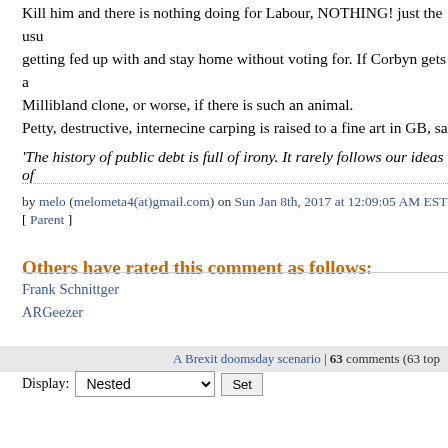Kill him and there is nothing doing for Labour, NOTHING! just the usu getting fed up with and stay home without voting for. If Corbyn gets a Millibland clone, or worse, if there is such an animal. Petty, destructive, internecine carping is raised to a fine art in GB, sa
'The history of public debt is full of irony. It rarely follows our ideas of
by melo (melometa4(at)gmail.com) on Sun Jan 8th, 2017 at 12:09:05 AM EST
[ Parent ]
Others have rated this comment as follows:
Frank Schnittger
ARGeezer
A Brexit doomsday scenario | 63 comments (63 top
Display: Nested  Set